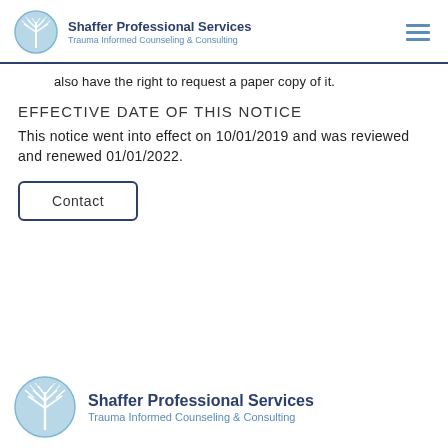Shaffer Professional Services – Trauma Informed Counseling & Consulting
also have the right to request a paper copy of it.
EFFECTIVE DATE OF THIS NOTICE
This notice went into effect on 10/01/2019 and was reviewed and renewed 01/01/2022.
Contact
Shaffer Professional Services – Trauma Informed Counseling & Consulting